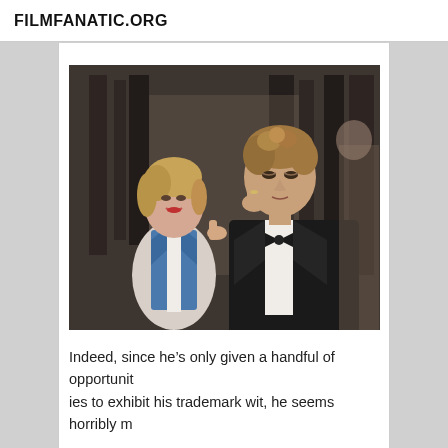FILMFANATIC.ORG
[Figure (photo): A color film still showing a smiling blonde woman in a blue vest and white blouse alongside a man in a black tuxedo with bow tie, his hand raised near his chin, appearing to be in a nightclub or stage setting.]
Indeed, since he’s only given a handful of opportunities to exhibit his trademark wit, he seems horribly m